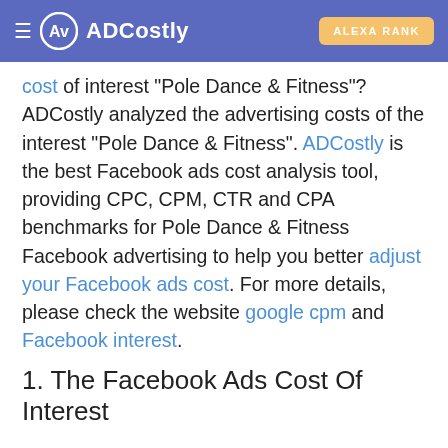ADCostly | ALEXA RANK
cost of interest "Pole Dance & Fitness"? ADCostly analyzed the advertising costs of the interest "Pole Dance & Fitness". ADCostly is the best Facebook ads cost analysis tool, providing CPC, CPM, CTR and CPA benchmarks for Pole Dance & Fitness Facebook advertising to help you better adjust your Facebook ads cost. For more details, please check the website google cpm and Facebook interest.
1. The Facebook Ads Cost Of Interest